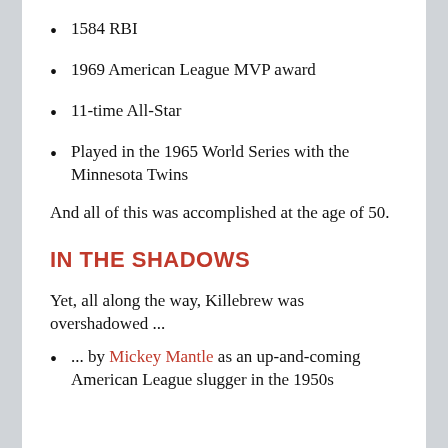1584 RBI
1969 American League MVP award
11-time All-Star
Played in the 1965 World Series with the Minnesota Twins
And all of this was accomplished at the age of 50.
IN THE SHADOWS
Yet, all along the way, Killebrew was overshadowed ...
... by Mickey Mantle as an up-and-coming American League slugger in the 1950s